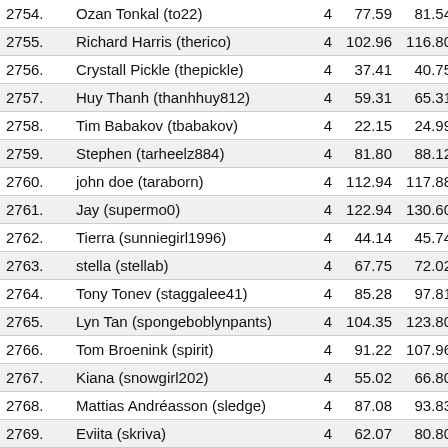| # | Name |  | Col3 | Col4 | Col5 |
| --- | --- | --- | --- | --- | --- |
| 2754. | Ozan Tonkal (to22) | 4 | 77.59 | 81.54 | 1 |
| 2755. | Richard Harris (therico) | 4 | 102.96 | 116.80 | 1 |
| 2756. | Crystall Pickle (thepickle) | 4 | 37.41 | 40.75 | 1 |
| 2757. | Huy Thanh (thanhhuy812) | 4 | 59.31 | 65.31 | 2 |
| 2758. | Tim Babakov (tbabakov) | 4 | 22.15 | 24.99 | 2 |
| 2759. | Stephen (tarheelz884) | 4 | 81.80 | 88.12 | 1 |
| 2760. | john doe (taraborn) | 4 | 112.94 | 117.88 | 2 |
| 2761. | Jay (supermo0) | 4 | 122.94 | 130.60 | 2 |
| 2762. | Tierra (sunniegirl1996) | 4 | 44.14 | 45.74 | 2 |
| 2763. | stella (stellab) | 4 | 67.75 | 72.02 | 3 |
| 2764. | Tony Tonev (staggalee41) | 4 | 85.28 | 97.81 | 2 |
| 2765. | Lyn Tan (spongeboblynpants) | 4 | 104.35 | 123.80 | 3 |
| 2766. | Tom Broenink (spirit) | 4 | 91.22 | 107.96 | 4 |
| 2767. | Kiana (snowgirl202) | 4 | 55.02 | 66.80 | 1 |
| 2768. | Mattias Andréasson (sledge) | 4 | 87.08 | 93.83 | 1 |
| 2769. | Eviita (skriva) | 4 | 62.07 | 80.80 | 2 |
| 2770. | Shehbaz Khan (shehbazkhan12... | 4 | 45.17 | 50.52 | 1 |
| 2771. | Kathy Tan (shedadothy...) | 4 | 81.81 | 88.88 | 1 |